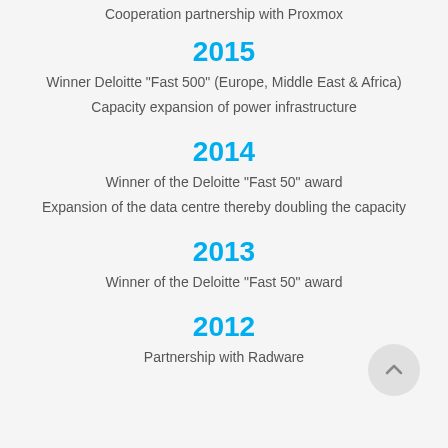Cooperation partnership with Proxmox
2015
Winner Deloitte "Fast 500" (Europe, Middle East & Africa)
Capacity expansion of power infrastructure
2014
Winner of the Deloitte "Fast 50" award
Expansion of the data centre thereby doubling the capacity
2013
Winner of the Deloitte "Fast 50" award
2012
Partnership with Radware